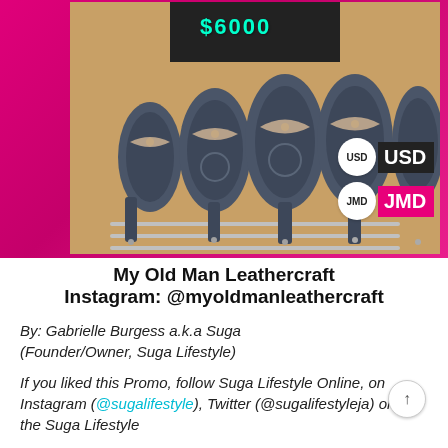[Figure (photo): Photo of multiple grey/blue leather belts rolled and tied with twine, displayed on a rack with a pink/magenta background. A price tag reading $6000 is visible at the top. Currency labels USD and JMD appear on the right side.]
My Old Man Leathercraft
Instagram: @myoldmanleathercraft
By: Gabrielle Burgess a.k.a Suga (Founder/Owner, Suga Lifestyle)
If you liked this Promo, follow Suga Lifestyle Online, on Instagram (@sugalifestyle), Twitter (@sugalifestyleja) or like the Suga Lifestyle